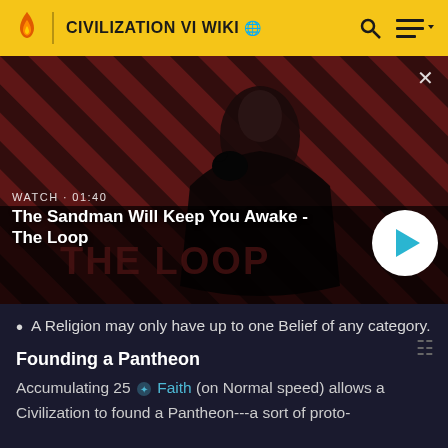CIVILIZATION VI WIKI
[Figure (screenshot): Video thumbnail showing a dark-cloaked figure with a raven on their shoulder against a red and black diagonal striped background. Shows 'WATCH · 01:40' label and title 'The Sandman Will Keep You Awake - The Loop' with a play button.]
A Religion may only have up to one Belief of any category.
Founding a Pantheon
Accumulating 25 Faith (on Normal speed) allows a Civilization to found a Pantheon---a sort of proto-